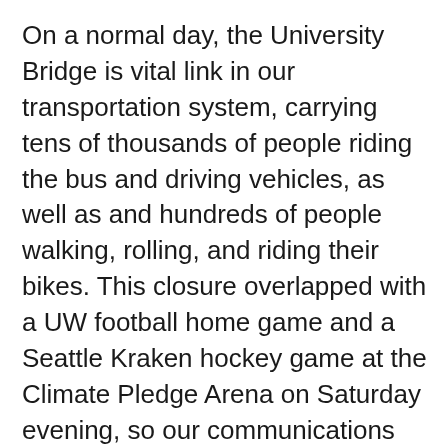On a normal day, the University Bridge is vital link in our transportation system, carrying tens of thousands of people riding the bus and driving vehicles, as well as and hundreds of people walking, rolling, and riding their bikes. This closure overlapped with a UW football home game and a Seattle Kraken hockey game at the Climate Pledge Arena on Saturday evening, so our communications and traffic detour efforts considered the needs of people traveling to those events, as well as local community members living and working near the bridge who frequently depend on the bridge to get around. We recognize the impact the unplanned closure had on mobility to travel in the area and